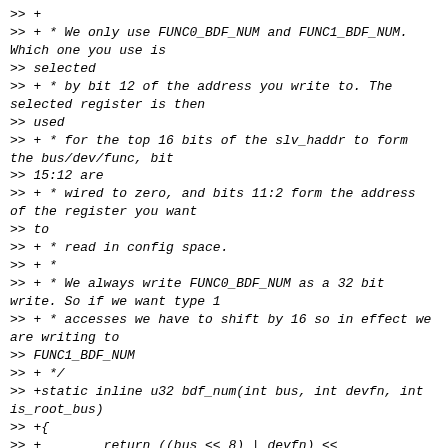>> +
>> + * We only use FUNC0_BDF_NUM and FUNC1_BDF_NUM. Which one you use is
>> selected
>> + * by bit 12 of the address you write to. The selected register is then
>> used
>> + * for the top 16 bits of the slv_haddr to form the bus/dev/func, bit
>> 15:12 are
>> + * wired to zero, and bits 11:2 form the address of the register you want
>> to
>> + * read in config space.
>> + *
>> + * We always write FUNC0_BDF_NUM as a 32 bit write. So if we want type 1
>> + * accesses we have to shift by 16 so in effect we are writing to
>> FUNC1_BDF_NUM
>> + */
>> +static inline u32 bdf_num(int bus, int devfn, int is_root_bus)
>> +{
>> +        return ((bus << 8) | devfn) << (is_root_bus ? 0 : 16);
>> +}
>> +
>> +static int st_pcie_rd_other_conf(struct pcie_port *pp, struct pci_bus
>> *bus